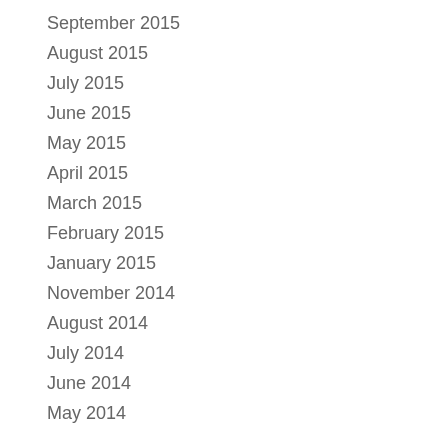September 2015
August 2015
July 2015
June 2015
May 2015
April 2015
March 2015
February 2015
January 2015
November 2014
August 2014
July 2014
June 2014
May 2014